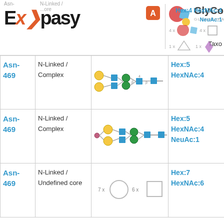[Figure (logo): ExPASy logo with orange arrow and GlyConnect logo with geometric shapes (red, blue, yellow circles/diamond) and GLYCOEXPASY subtitle]
| Asn- | N-Linked / Type | Structure | Composition |
| --- | --- | --- | --- |
| Asn-469 | N-Linked / Complex | [glycan structure diagram] | Hex:5 HexNAc:4 |
| Asn-469 | N-Linked / Complex | [glycan structure diagram with pink dot] | Hex:5 HexNAc:4 NeuAc:1 |
| Asn-469 | N-Linked / Undefined core | [7x circle 6x square] | Hex:7 HexNAc:6 |